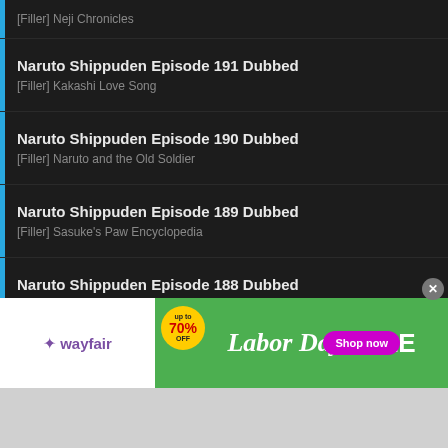[Filler] Neji Chronicles
Naruto Shippuden Episode 191 Dubbed
[Filler] Kakashi Love Song
Naruto Shippuden Episode 190 Dubbed
[Filler] Naruto and the Old Soldier
Naruto Shippuden Episode 189 Dubbed
[Filler] Sasuke's Paw Encyclopedia
Naruto Shippuden Episode 188 Dubbed
[Filler] Record of the Ninja Gutsy Master and Student
Naruto Shippuden Episode 187 Dubbed
[Filler] Gutsy Master and Student - The Training
[Figure (screenshot): Wayfair Labor Day Sale advertisement banner with green background, 70% off badge, and Shop now button]